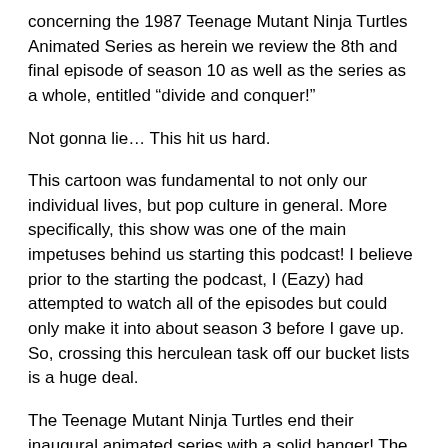concerning the 1987 Teenage Mutant Ninja Turtles Animated Series as herein we review the 8th and final episode of season 10 as well as the series as a whole, entitled “divide and conquer!”
Not gonna lie… This hit us hard.
This cartoon was fundamental to not only our individual lives, but pop culture in general. More specifically, this show was one of the main impetuses behind us starting this podcast! I believe prior to the starting the podcast, I (Eazy) had attempted to watch all of the episodes but could only make it into about season 3 before I gave up. So, crossing this herculean task off our bucket lists is a huge deal.
The Teenage Mutant Ninja Turtles end their inaugural animated series with a solid banger! The TMNT find themselves in the midst of a battle with an unknown alien threat. The struggle ends with this alien who we named “Roach